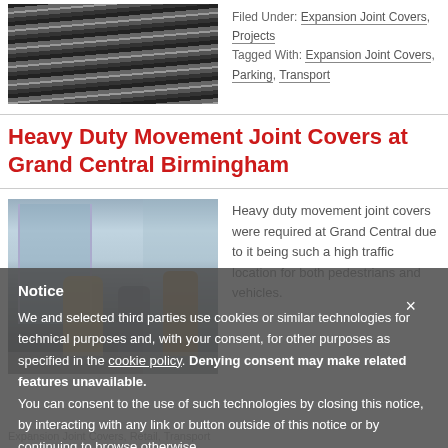[Figure (photo): Close-up of accordion/expansion joint covers showing parallel ridged metallic strips converging toward center]
Filed Under: Expansion Joint Covers, Projects
Tagged With: Expansion Joint Covers, Parking, Transport
Heavy Duty Movement Joint Covers at Grand Central Birmingham
[Figure (photo): Interior of Grand Central Birmingham shopping center with pedestrians walking across expansion joint floor area]
Heavy duty movement joint covers were required at Grand Central due to it being such a high traffic location for both pedestrians and vehicles.
Notice
We and selected third parties use cookies or similar technologies for technical purposes and, with your consent, for other purposes as specified in the cookie policy. Denying consent may make related features unavailable.
You can consent to the use of such technologies by closing this notice, by interacting with any link or button outside of this notice or by continuing to browse otherwise.
Expansion Joint Covers, Retail, Transport